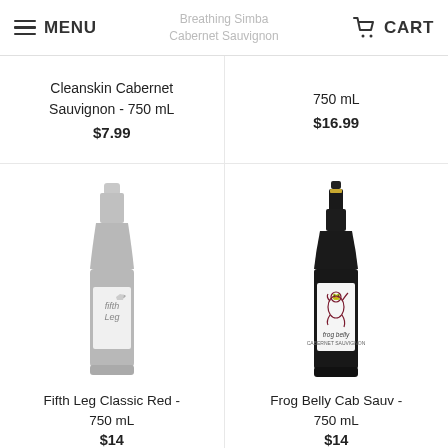MENU | Breathing Simba Cabernet Sauvignon | CART
Cleanskin Cabernet Sauvignon - 750 mL
$7.99
750 mL
$16.99
[Figure (photo): Fifth Leg Classic Red wine bottle - grey/silver colored bottle with white label featuring a dog logo, 750 mL]
Fifth Leg Classic Red - 750 mL
$14.00 (partially cut off)
[Figure (photo): Frog Belly Cab Sauv wine bottle - dark bottle with white label featuring a frog illustration in purple/maroon, 750 mL]
Frog Belly Cab Sauv - 750 mL
$14.00 (partially cut off)